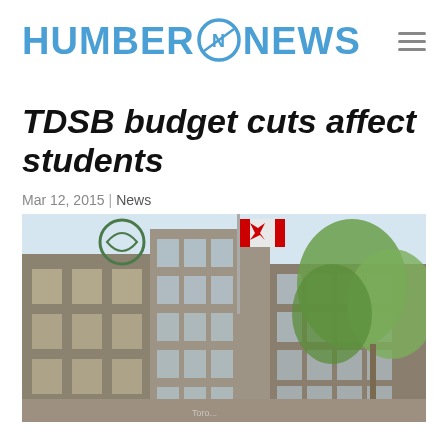HUMBER NEWS
TDSB budget cuts affect students
Mar 12, 2015 | News
[Figure (photo): Exterior photo of the Toronto District School Board (TDSB) building, showing a multi-storey concrete and glass structure with a Canadian flag and the TDSB logo visible, with green trees in the foreground on a partly cloudy day.]